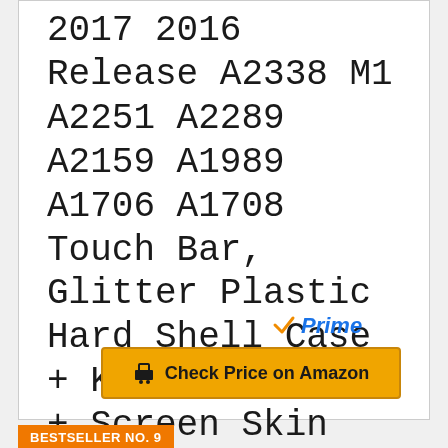2017 2016 Release A2338 M1 A2251 A2289 A2159 A1989 A1706 A1708 Touch Bar, Glitter Plastic Hard Shell Case + Keyboard Cover + Screen Skin
[Figure (logo): Amazon Prime logo with orange checkmark and blue italic 'Prime' text]
Check Price on Amazon
BESTSELLER NO. 9
[Figure (photo): Pink laptop case product photo]